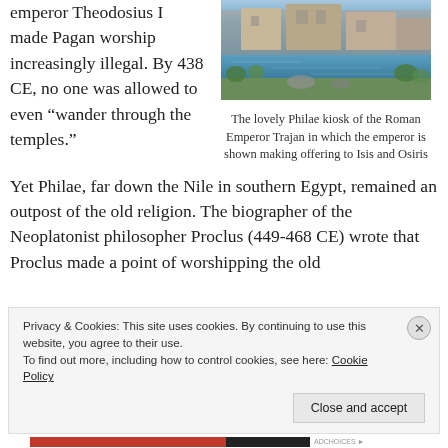emperor Theodosius I made Pagan worship increasingly illegal. By 438 CE, no one was allowed to even “wander through the temples.”
[Figure (photo): Photograph of the Philae kiosk of the Roman Emperor Trajan, showing ancient stone structures near the Nile river with water and vegetation in the foreground.]
The lovely Philae kiosk of the Roman Emperor Trajan in which the emperor is shown making offering to Isis and Osiris
Yet Philae, far down the Nile in southern Egypt, remained an outpost of the old religion. The biographer of the Neoplatonist philosopher Proclus (449-468 CE) wrote that Proclus made a point of worshipping the old
Privacy & Cookies: This site uses cookies. By continuing to use this website, you agree to their use.
To find out more, including how to control cookies, see here: Cookie Policy
Close and accept